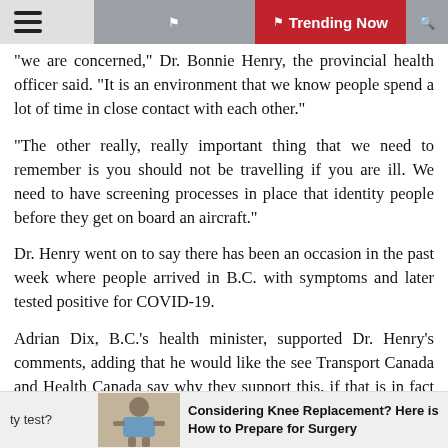Trending Now
"we are concerned," Dr. Bonnie Henry, the provincial health officer said. "It is an environment that we know people spend a lot of time in close contact with each other."
"The other really, really important thing that we need to remember is you should not be travelling if you are ill. We need to have screening processes in place that identity people before they get on board an aircraft."
Dr. Henry went on to say there has been an occasion in the past week where people arrived in B.C. with symptoms and later tested positive for COVID-19.
Adrian Dix, B.C.'s health minister, supported Dr. Henry's comments, adding that he would like the see Transport Canada and Health Canada say why they support this, if that is in fact the case.
ty test? | Considering Knee Replacement? Here is How to Prepare for Surgery